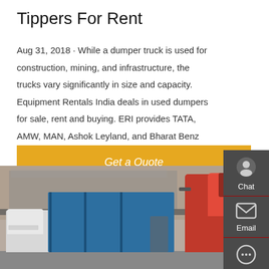Tippers For Rent
Aug 31, 2018 · While a dumper truck is used for construction, mining, and infrastructure, the trucks vary significantly in size and capacity. Equipment Rentals India deals in used dumpers for sale, rent and buying. ERI provides TATA, AMW, MAN, Ashok Leyland, and Bharat Benz second-hand dumpers, tippers for rent in all India.
Get a Quote
[Figure (photo): Photo of trucks including a red cab-over truck and blue cargo containers parked outside an industrial building.]